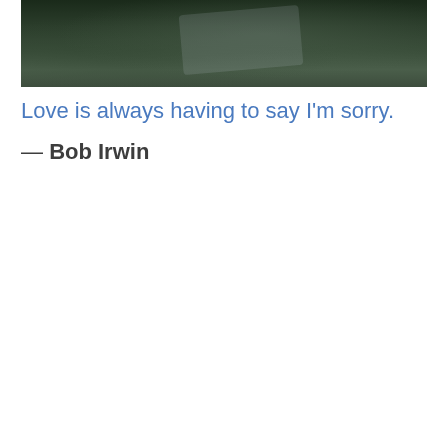[Figure (photo): Dark outdoor photo showing a person or scene in a natural/garden setting with dark green tones]
Love is always having to say I'm sorry.
— Bob Irwin